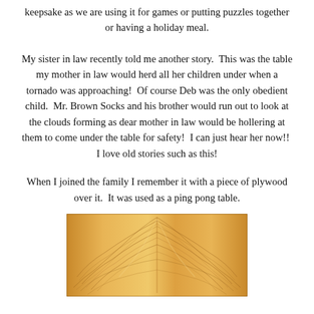keepsake as we are using it for games or putting puzzles together or having a holiday meal.
My sister in law recently told me another story.  This was the table my mother in law would herd all her children under when a tornado was approaching!  Of course Deb was the only obedient child.  Mr. Brown Socks and his brother would run out to look at the clouds forming as dear mother in law would be hollering at them to come under the table for safety!  I can just hear her now!!  I love old stories such as this!
When I joined the family I remember it with a piece of plywood over it.  It was used as a ping pong table.
[Figure (photo): Close-up photograph of a wooden table surface showing wood grain pattern in warm golden-brown tones with distinctive chevron/herringbone wood grain markings.]